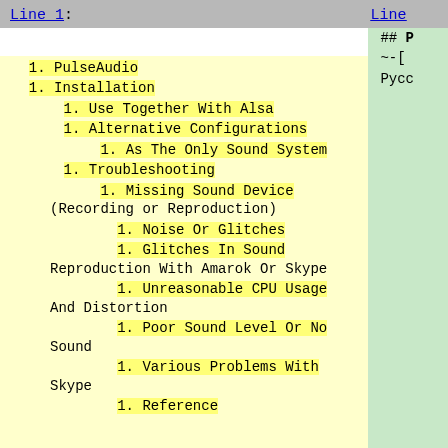Line 1: | Line
1. PulseAudio
1. Installation
1. Use Together With Alsa
1. Alternative Configurations
1. As The Only Sound System
1. Troubleshooting
1. Missing Sound Device (Recording or Reproduction)
1. Noise Or Glitches
1. Glitches In Sound Reproduction With Amarok Or Skype
1. Unreasonable CPU Usage And Distortion
1. Poor Sound Level Or No Sound
1. Various Problems With Skype
1. Reference